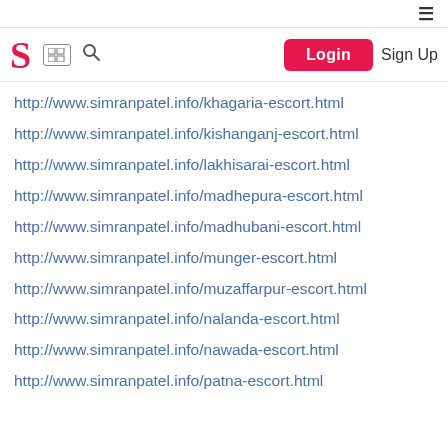Navigation bar with logo S, grid icon, search icon, Login button, Sign Up
http://www.simranpatel.info/khagaria-escort.html
http://www.simranpatel.info/kishanganj-escort.html
http://www.simranpatel.info/lakhisarai-escort.html
http://www.simranpatel.info/madhepura-escort.html
http://www.simranpatel.info/madhubani-escort.html
http://www.simranpatel.info/munger-escort.html
http://www.simranpatel.info/muzaffarpur-escort.html
http://www.simranpatel.info/nalanda-escort.html
http://www.simranpatel.info/nawada-escort.html
http://www.simranpatel.info/patna-escort.html